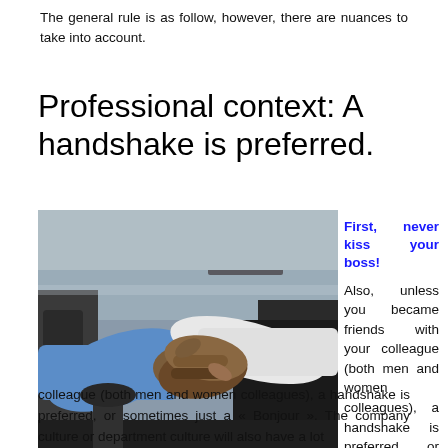The general rule is as follow, however, there are nuances to take into account.
Professional context: A handshake is preferred.
[Figure (photo): Two people shaking hands in a professional office setting. One person wearing a blue shirt, the other wearing a white shirt, with an office background visible.]
First, never kiss your boss! Also, unless you became friends with your colleague (both men and women colleagues), a handshake is preferred, or sometimes just a « Bonjour ». The company culture or department culture will also have a lot